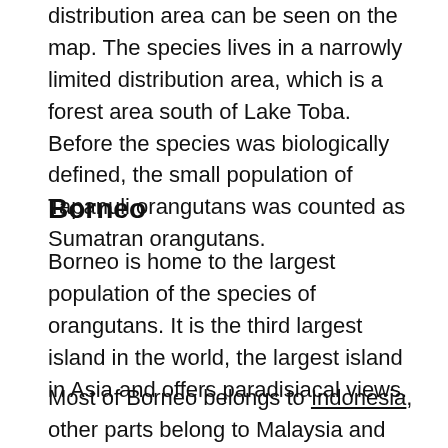distribution area can be seen on the map. The species lives in a narrowly limited distribution area, which is a forest area south of Lake Toba. Before the species was biologically defined, the small population of Tapanuli orangutans was counted as Sumatran orangutans.
Borneo
Borneo is home to the largest population of the species of orangutans. It is the third largest island in the world, the largest island in Asia and offers paradisiacal views.
Most of Borneo belongs to Indonesia, other parts belong to Malaysia and even Brunei. The island is